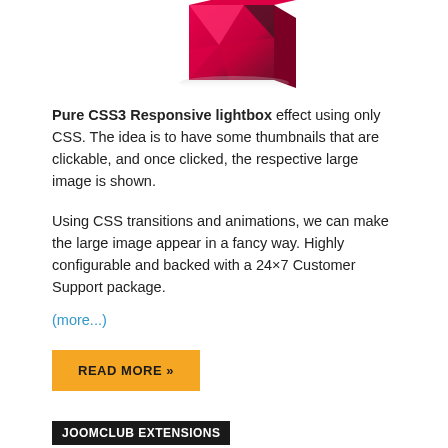[Figure (illustration): Product box with pink/red geometric design on dark background, partially visible at top of page]
Pure CSS3 Responsive lightbox effect using only CSS. The idea is to have some thumbnails that are clickable, and once clicked, the respective large image is shown.
Using CSS transitions and animations, we can make the large image appear in a fancy way. Highly configurable and backed with a 24×7 Customer Support package.
(more...)
READ MORE »
JOOMCLUB EXTENSIONS
JoomClub Responsive Thumbnail Lightbox Joomla Module Download